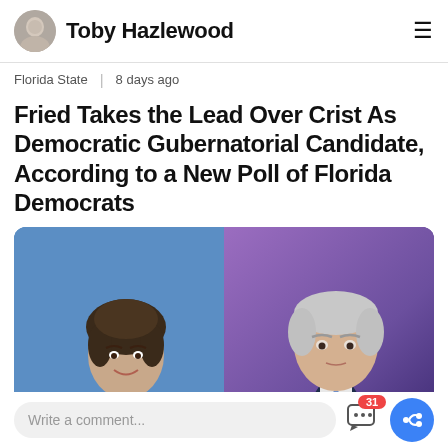Toby Hazlewood
Florida State | 8 days ago
Fried Takes the Lead Over Crist As Democratic Gubernatorial Candidate, According to a New Poll of Florida Democrats
[Figure (photo): Side-by-side photo of two political candidates: a woman on the left against a blue background, and an older man on the right against a purple background]
Write a comment...